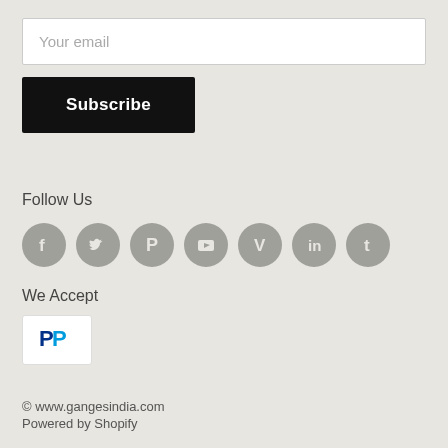Your email
Subscribe
Follow Us
[Figure (infographic): Row of 7 grey circular social media icons: Facebook, Twitter, Pinterest, YouTube, Vimeo, LinkedIn, Tumblr]
We Accept
[Figure (logo): PayPal logo on white rounded rectangle card]
© www.gangesindia.com
Powered by Shopify